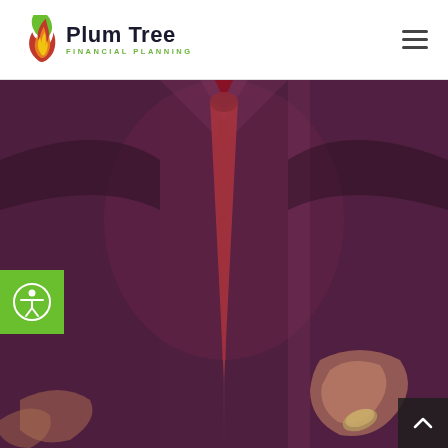[Figure (logo): Plum Tree Financial Planning logo with flame icon and company name]
[Figure (other): Hamburger menu icon (three horizontal lines) in the top right of header]
[Figure (photo): Hero background image of a businessman in a suit with red tie, blurred, with purple/dark red overlay tint. A hand holding a coin is visible in the lower portion.]
[Figure (other): Accessibility icon button (green background, person with circle icon) on the left side]
[Figure (other): Back-to-top arrow button (dark background, upward chevron) in the bottom right corner]